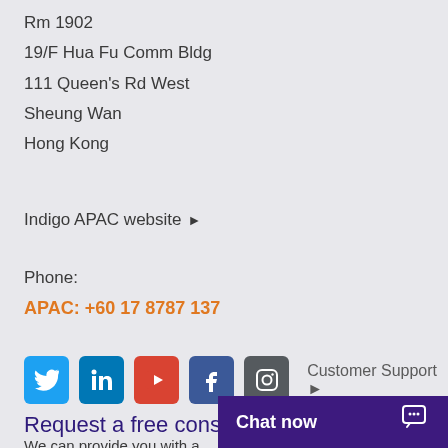Rm 1902
19/F Hua Fu Comm Bldg
111 Queen's Rd West
Sheung Wan
Hong Kong
Indigo APAC website ▶
Phone:
APAC: +60 17 8787 137
[Figure (other): Social media icons row: Twitter (blue), LinkedIn (blue), YouTube (red), Facebook (blue), Instagram (grey), followed by Customer Support link with arrow]
Request a free consultation
We can provide you with a
Chat now